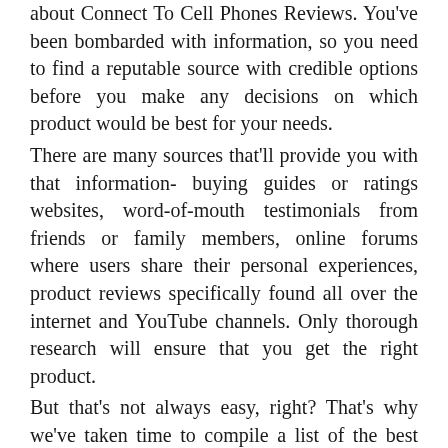about Connect To Cell Phones Reviews. You've been bombarded with information, so you need to find a reputable source with credible options before you make any decisions on which product would be best for your needs. There are many sources that'll provide you with that information- buying guides or ratings websites, word-of-mouth testimonials from friends or family members, online forums where users share their personal experiences, product reviews specifically found all over the internet and YouTube channels. Only thorough research will ensure that you get the right product. But that's not always easy, right? That's why we've taken time to compile a list of the best Connect To Cell Phones in today's market, on your behalf, so that there will be no more worries for you.